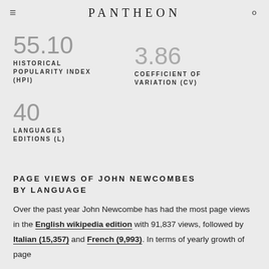PANTHEON
55.10
HISTORICAL POPULARITY INDEX (HPI)
3.86
COEFFICIENT OF VARIATION (CV)
40
LANGUAGES EDITIONS (L)
PAGE VIEWS OF JOHN NEWCOMBES BY LANGUAGE
Over the past year John Newcombe has had the most page views in the English wikipedia edition with 91,837 views, followed by Italian (15,357) and French (9,993). In terms of yearly growth of page